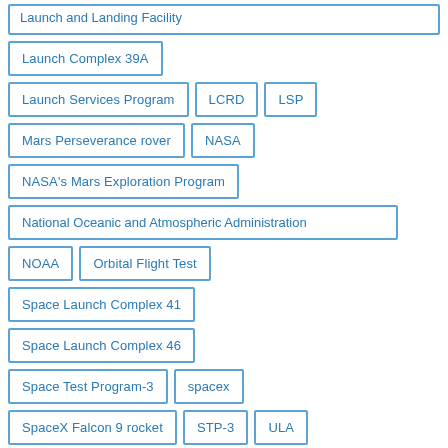Launch and Landing Facility
Launch Complex 39A
Launch Services Program
LCRD
LSP
Mars Perseverance rover
NASA
NASA's Mars Exploration Program
National Oceanic and Atmospheric Administration
NOAA
Orbital Flight Test
Space Launch Complex 41
Space Launch Complex 46
Space Test Program-3
spacex
SpaceX Falcon 9 rocket
STP-3
ULA